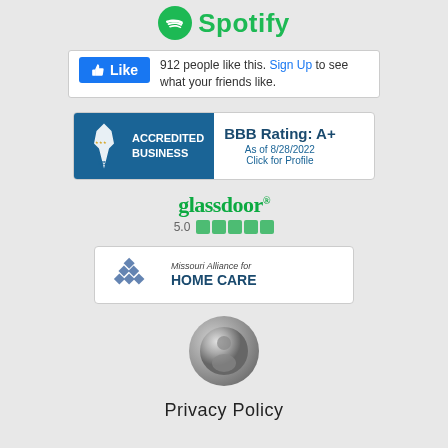[Figure (logo): Spotify logo with green circle icon and green Spotify text]
[Figure (screenshot): Facebook Like button showing 912 people like this. Sign Up to see what your friends like.]
[Figure (logo): BBB Accredited Business badge with rating A+ as of 8/28/2022, Click for Profile]
[Figure (logo): Glassdoor logo with green star rating]
[Figure (logo): Missouri Alliance for HOME CARE logo]
[Figure (logo): Circular metallic/privacy seal icon]
Privacy Policy